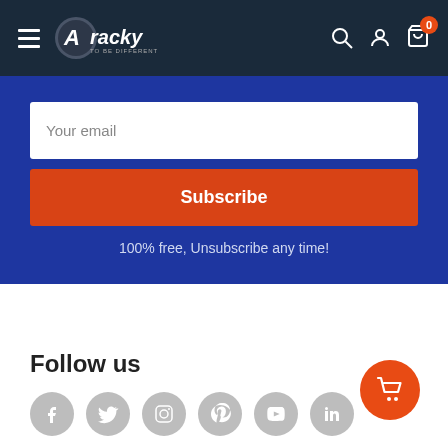Aracky — navigation bar with hamburger menu, logo, search, account, and cart icons
Your email
Subscribe
100% free, Unsubscribe any time!
Follow us
[Figure (other): Social media icons: Facebook, Twitter, Instagram, Pinterest, YouTube, LinkedIn — all grey circles]